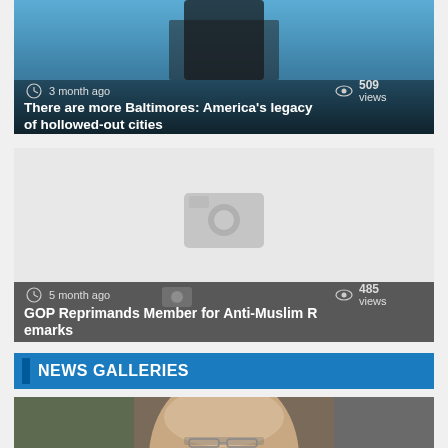[Figure (photo): News article card with dark background image showing a figure, with clock icon, '3 month ago', eye icon, '509 views' metadata overlay]
There are more Baltimores: America's legacy of hollowed-out cities
[Figure (photo): News article card with grey placeholder image, camera icon, with clock icon, '5 month ago', eye icon, '485 views' metadata overlay]
GOP Reprimands Member for Anti-Muslim Remarks
NEWS GALLERIES
[Figure (photo): Partial photo of a man with glasses looking downward, blurred background]